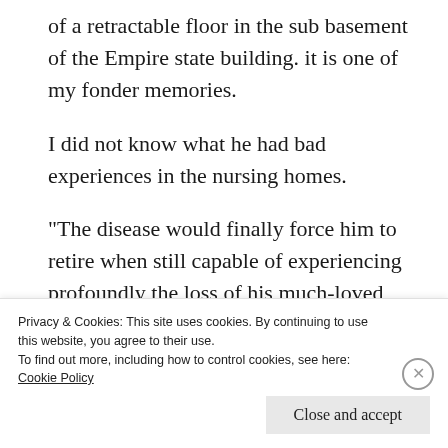of a retractable floor in the sub basement of the Empire state building. it is one of my fonder memories.
I did not know what he had bad experiences in the nursing homes.
“The disease would finally force him to retire when still capable of experiencing profoundly the loss of his much-loved work.”
Privacy & Cookies: This site uses cookies. By continuing to use this website, you agree to their use.
To find out more, including how to control cookies, see here: Cookie Policy